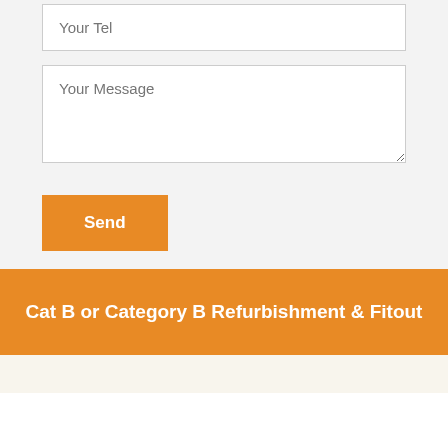Your Tel
Your Message
Send
Cat B or Category B Refurbishment & Fitout